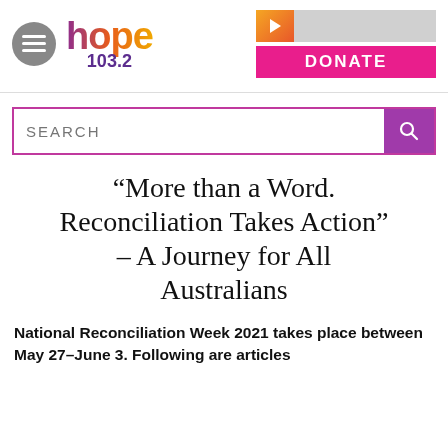hope 103.2 — DONATE
“More than a Word. Reconciliation Takes Action” – A Journey for All Australians
National Reconciliation Week 2021 takes place between May 27–June 3. Following are articles